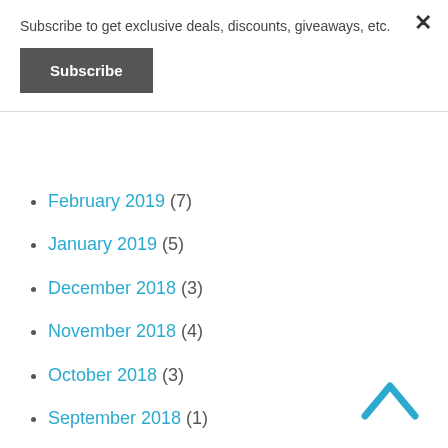Subscribe to get exclusive deals, discounts, giveaways, etc.
Subscribe
February 2019 (7)
January 2019 (5)
December 2018 (3)
November 2018 (4)
October 2018 (3)
September 2018 (1)
August 2018 (4)
July 2018 (2)
April 2018 (4)
March 2018 (2)